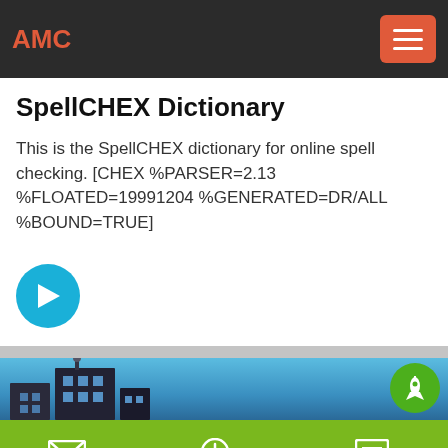AMC
SpellCHEX Dictionary
This is the SpellCHEX dictionary for online spell checking. [CHEX %PARSER=2.13 %FLOATED=19991204 %GENERATED=DR/ALL %BOUND=TRUE]
[Figure (other): Cyan circle with right-pointing arrow navigation button]
[Figure (photo): Photo strip showing building silhouette against blue sky with green notification bubble icon]
email  onlineChat  message